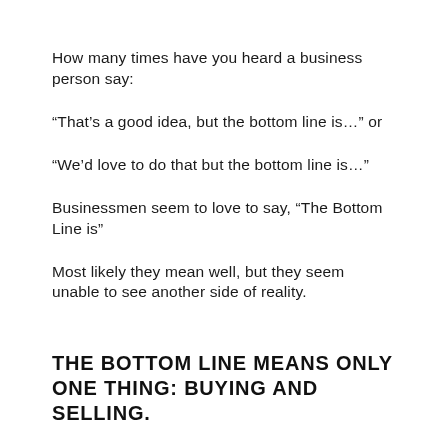How many times have you heard a business person say:
“That’s a good idea, but the bottom line is…” or
“We’d love to do that but the bottom line is…”
Businessmen seem to love to say, “The Bottom Line is”
Most likely they mean well, but they seem unable to see another side of reality.
THE BOTTOM LINE MEANS ONLY ONE THING: BUYING AND SELLING.